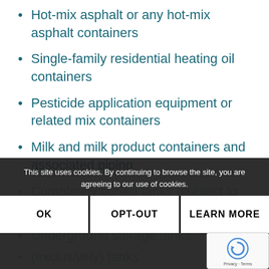Hot-mix asphalt or any hot-mix asphalt containers
Single-family residential heating oil containers
Pesticide application equipment or related mix containers
Milk and milk product containers and associated piping
Completely buried tanks (subject to 40 CFR part 280)
Underground storage tanks
(partially visible) tanks